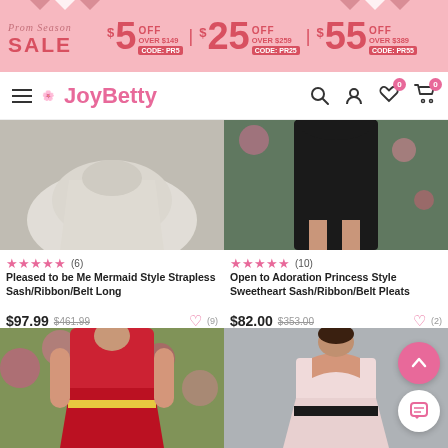[Figure (screenshot): Prom Season Sale banner with pink background, offering $5 off over $149 (CODE: PR5), $25 off over $259 (CODE: PR25), $55 off over $389 (CODE: PR55)]
JoyBetty navigation bar with hamburger menu, logo, search, account, wishlist (0), and cart (0) icons
[Figure (photo): White satin gown train on grey floor]
[Figure (photo): Black dress on model with floral background]
★★★★★ (6)
★★★★★ (10)
Pleased to be Me Mermaid Style Strapless Sash/Ribbon/Belt Long
Open to Adoration Princess Style Sweetheart Sash/Ribbon/Belt Pleats
$97.99  $461.99  ♡ (9)
$82.00  $353.00  ♡ (2)
[Figure (photo): Woman in red V-neck bridesmaid dress with yellow ribbon in flower garden]
[Figure (photo): Woman in light pink strapless dress with black belt on grey background]